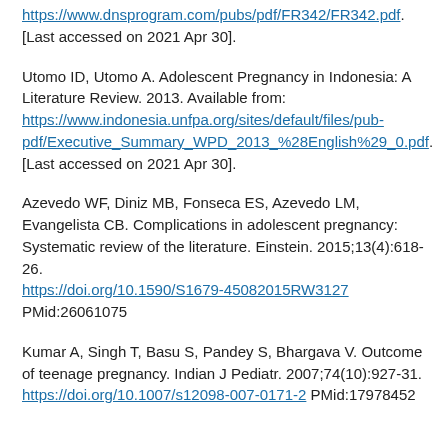https://www.dnsprogram.com/pubs/pdf/FR342/FR342.pdf. [Last accessed on 2021 Apr 30].
Utomo ID, Utomo A. Adolescent Pregnancy in Indonesia: A Literature Review. 2013. Available from: https://www.indonesia.unfpa.org/sites/default/files/pub-pdf/Executive_Summary_WPD_2013_%28English%29_0.pdf. [Last accessed on 2021 Apr 30].
Azevedo WF, Diniz MB, Fonseca ES, Azevedo LM, Evangelista CB. Complications in adolescent pregnancy: Systematic review of the literature. Einstein. 2015;13(4):618-26. https://doi.org/10.1590/S1679-45082015RW3127 PMid:26061075
Kumar A, Singh T, Basu S, Pandey S, Bhargava V. Outcome of teenage pregnancy. Indian J Pediatr. 2007;74(10):927-31. https://doi.org/10.1007/s12098-007-0171-2 PMid:17978452